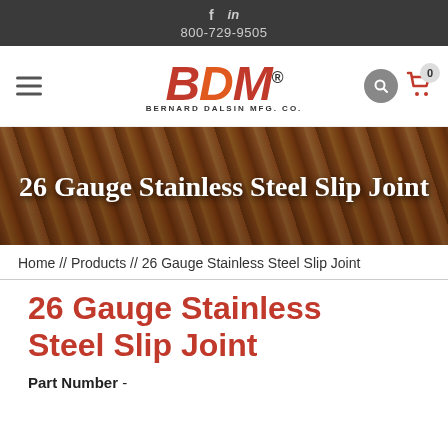f  in  800-729-9505
[Figure (logo): BDM Bernard Dalsin Mfg. Co. logo with red/orange bold italic letters and registered trademark symbol]
26 Gauge Stainless Steel Slip Joint
Home // Products // 26 Gauge Stainless Steel Slip Joint
26 Gauge Stainless Steel Slip Joint
Part Number -